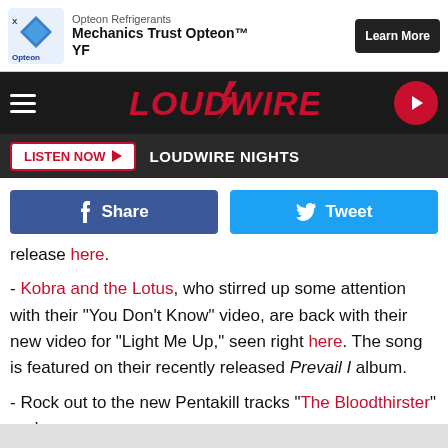[Figure (screenshot): Opteon Refrigerants advertisement banner with logo, text 'Mechanics Trust Opteon YF' and Learn More button]
LOUDWIRE
LISTEN NOW  LOUDWIRE NIGHTS
Share  Tweet
release here.
- Kobra and the Lotus, who stirred up some attention with their "You Don't Know" video, are back with their new video for "Light Me Up," seen right here. The song is featured on their recently released Prevail I album.
- Rock out to the new Pentakill tracks "The Bloodthirster" and "